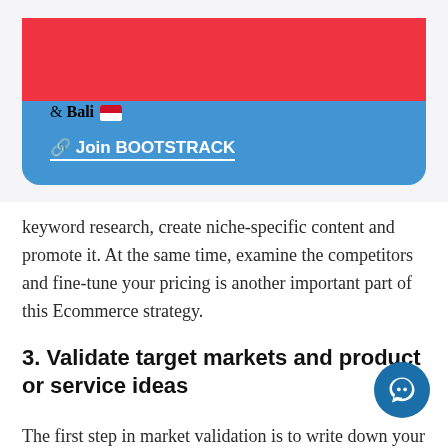[Figure (screenshot): A blue popup/banner card with close button. Text: '🖥️ Digital Nomad? ✏️ Apply for Growth Residency Programs in Singapore 🇸🇬 & Bali 🇮🇩' with a link '🔗 Join BOOTSTRACK' underlined in white.]
keyword research, create niche-specific content and promote it. At the same time, examine the competitors and fine-tune your pricing is another important part of this Ecommerce strategy.
3. Validate target markets and product or service ideas
The first step in market validation is to write down your business's goals, followed by assessing market size share. Finally, test your product or service after conducting a large volume of related term searches and